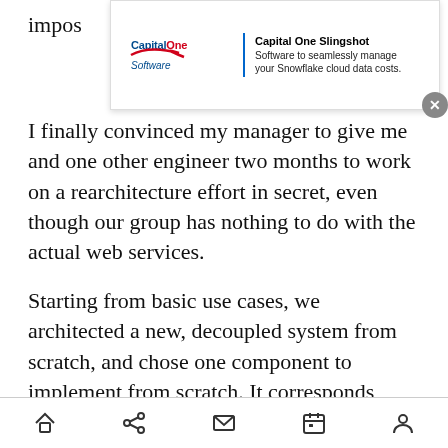impos
[Figure (screenshot): Capital One Slingshot advertisement banner. Logo on left with 'Capital One Software' text and red swoosh logo. Text reads: 'Capital One Slingshot - Software to seamlessly manage your Snowflake cloud data costs.' Close button (X) on right.]
I finally convinced my manager to give me and one other engineer two months to work on a rearchitecture effort in secret, even though our group has nothing to do with the actual web services.
Starting from basic use cases, we architected a new, decoupled system from scratch, and chose one component to implement from scratch. It corresponds roughly to 1/6 of the existing system.
In two months we were able to build a new service that:
(partial text, cut off at bottom)
[Figure (screenshot): Mobile browser bottom navigation bar with icons: home, share, mail/message, calendar, and person/account.]